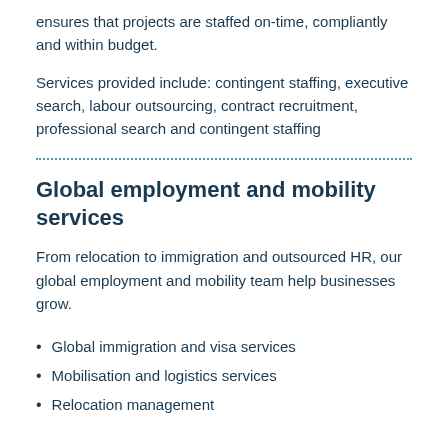ensures that projects are staffed on-time, compliantly and within budget.
Services provided include: contingent staffing, executive search, labour outsourcing, contract recruitment, professional search and contingent staffing
Global employment and mobility services
From relocation to immigration and outsourced HR, our global employment and mobility team help businesses grow.
Global immigration and visa services
Mobilisation and logistics services
Relocation management